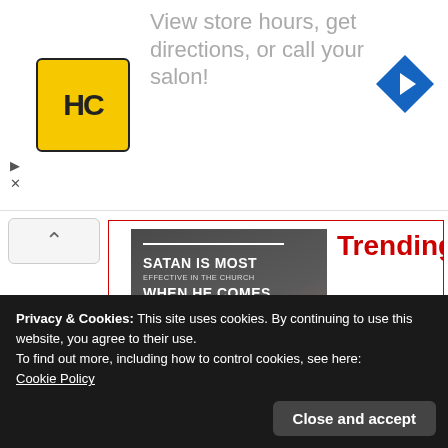[Figure (advertisement): Salon/hair care ad with HC logo in yellow circle, text 'View store hours, get directions, or call your salon!' and a blue navigation arrow icon]
[Figure (infographic): Quote image with dark background: 'SATAN IS MOST EFFECTIVE IN THE CHURCH WHEN HE COMES' with additional smaller text and attribution to John MacArthur, alongside trending label and description 'Satan is most effective quote']
Trending
Satan is most effective quote
Privacy & Cookies: This site uses cookies. By continuing to use this website, you agree to their use.
To find out more, including how to control cookies, see here:
Cookie Policy
Close and accept